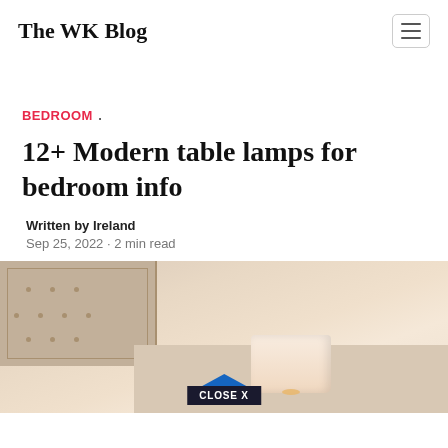The WK Blog
BEDROOM .
12+ Modern table lamps for bedroom info
Written by Ireland
Sep 25, 2022 · 2 min read
[Figure (photo): Bedroom scene showing a table lamp with a white shade on a nightstand, with a tufted headboard visible in the background. A 'CLOSE X' button overlay appears at the bottom center.]